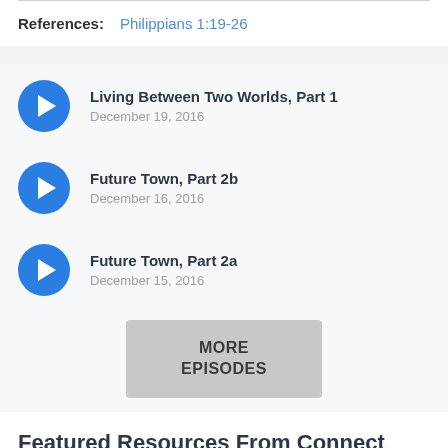References: Philippians 1:19-26
Living Between Two Worlds, Part 1 — December 19, 2016
Future Town, Part 2b — December 16, 2016
Future Town, Part 2a — December 15, 2016
MORE EPISODES
Featured Resources From Connect